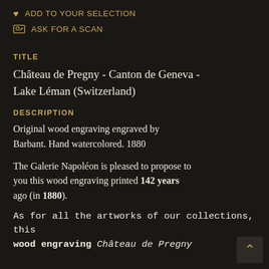♥ Add to your selection
🖼 Ask for a scan
TITLE
Château de Pregny - Canton de Geneva - Lake Léman (Switzerland)
DESCRIPTION
Original wood engraving engraved by Barbant. Hand watercolored. 1880
The Galerie Napoléon is pleased to propose to you this wood engraving printed 142 years ago (in 1880).
As for all the artworks of our collections, this wood engraving Château de Pregny...